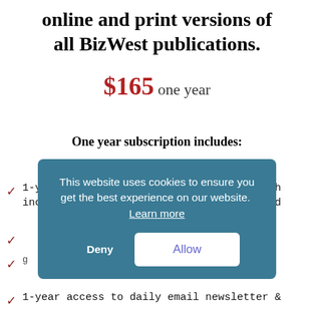online and print versions of all BizWest publications.
$165 one year
One year subscription includes:
1-year online access to BizWest.com which includes unlimited news stories, archived
(partially hidden by cookie banner)
(partially hidden by cookie banner)
1-year access to daily email newsletter &
This website uses cookies to ensure you get the best experience on our website. Learn more
Deny  Allow